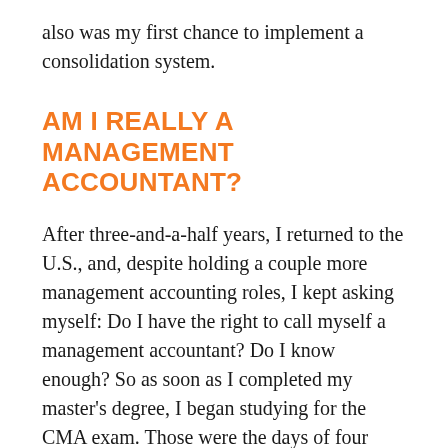also was my first chance to implement a consolidation system.
AM I REALLY A MANAGEMENT ACCOUNTANT?
After three-and-a-half years, I returned to the U.S., and, despite holding a couple more management accounting roles, I kept asking myself: Do I have the right to call myself a management accountant? Do I know enough? So as soon as I completed my master's degree, I began studying for the CMA exam. Those were the days of four